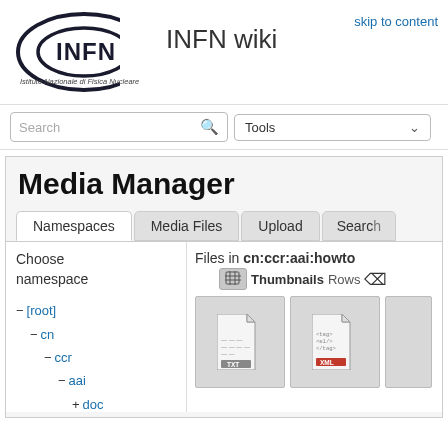[Figure (logo): INFN logo — elliptical arc with INFN text, tagline Istituto Nazionale di Fisica Nucleare]
INFN wiki
skip to content
Search
Tools
Media Manager
Namespaces
Media Files
Upload
Search
Choose namespace
Files in cn:ccr:aai:howto
Thumbnails
Rows
− [root]
− cn
− ccr
− aai
+ doc
[Figure (other): TXT file icon thumbnail]
[Figure (other): XML file icon thumbnail]